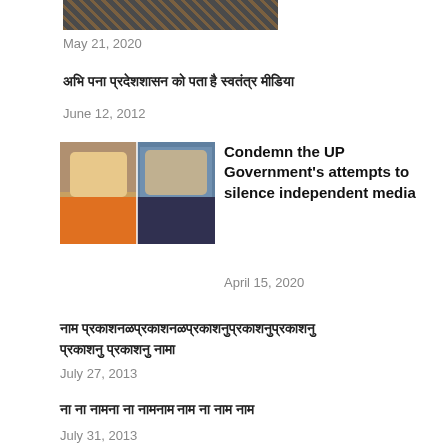[Figure (photo): Partial photo at top of page, cropped]
May 21, 2020
[Hindi text - unrenderable characters]
June 12, 2012
[Figure (photo): Two men: one in orange religious attire, one in suit and tie]
Condemn the UP Government's attempts to silence independent media
April 15, 2020
[Hindi text - unrenderable characters]
July 27, 2013
[Hindi text - unrenderable characters]
July 31, 2013